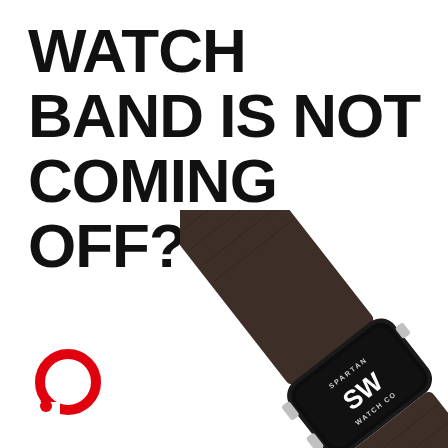WATCH BAND IS NOT COMING OFF?
[Figure (photo): A dark brown leather watch band with silver buckle hardware attached to a smartwatch displaying 'SW' and 'SPARTAN WATCH CO' logo on its black face, photographed diagonally on a white background]
[Figure (logo): Red circular chat bubble / speech bubble logo icon in bottom left corner]